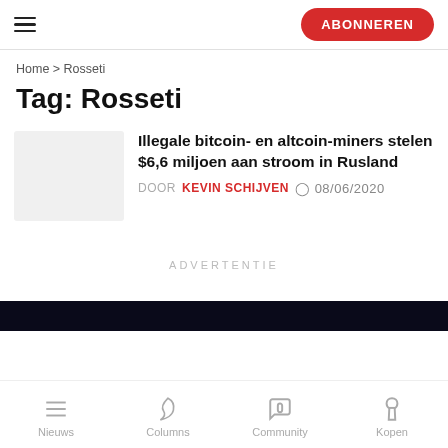ABONNEREN
Home > Rosseti
Tag: Rosseti
Illegale bitcoin- en altcoin-miners stelen $6,6 miljoen aan stroom in Rusland
DOOR KEVIN SCHIJVEN  08/06/2020
ADVERTENTIE
Nieuws  Columns  Community  Kopen